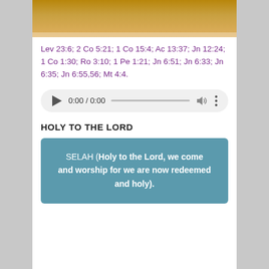[Figure (photo): Partial view of an animal (appears to be a cat or lion) photo at top of card]
Lev 23:6; 2 Co 5:21; 1 Co 15:4; Ac 13:37; Jn 12:24; 1 Co 1:30; Ro 3:10; 1 Pe 1:21; Jn 6:51; Jn 6:33; Jn 6:35; Jn 6:55,56; Mt 4:4.
[Figure (other): Audio player widget showing 0:00 / 0:00 with play button, progress bar, volume and more options]
HOLY TO THE LORD
SELAH (Holy to the Lord, we come and worship for we are now redeemed and holy).